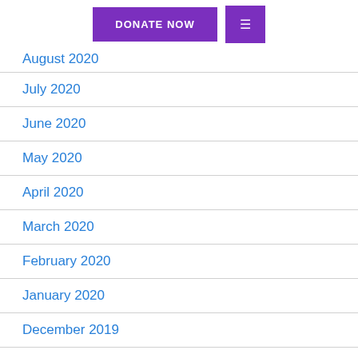DONATE NOW | ≡
August 2020
July 2020
June 2020
May 2020
April 2020
March 2020
February 2020
January 2020
December 2019
November 2019